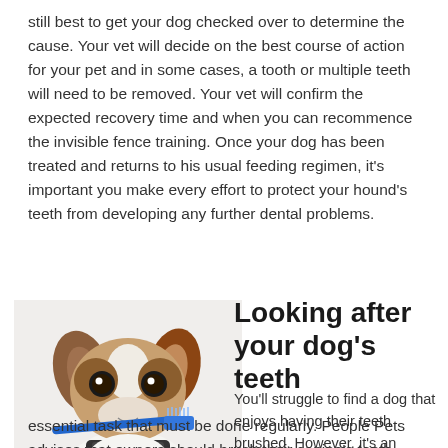still best to get your dog checked over to determine the cause. Your vet will decide on the best course of action for your pet and in some cases, a tooth or multiple teeth will need to be removed. Your vet will confirm the expected recovery time and when you can recommence the invisible fence training. Once your dog has been treated and returns to his usual feeding regimen, it's important you make every effort to protect your hound's teeth from developing any further dental problems.
[Figure (photo): A Jack Russell Terrier dog holding a blue toothbrush in its mouth, looking at the camera with a humorous expression, wearing a dark collar.]
Looking after your dog's teeth
You'll struggle to find a dog that enjoys having their teeth brushed. However, it's an essential task that must be done regularly. People Pets advises that owners should brush their canine's teeth every